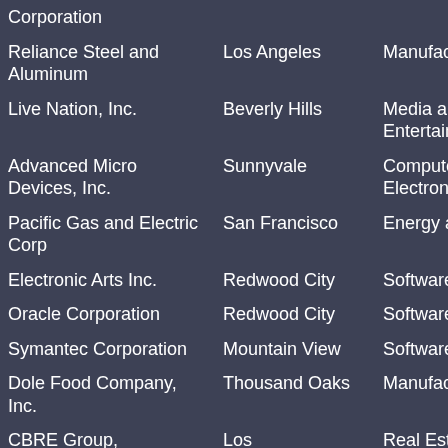| Company | City | Industry | Sub-industry |
| --- | --- | --- | --- |
| Corporation |  |  | Meta |
| Reliance Steel and Aluminum | Los Angeles | Manufacturing | Meta |
| Live Nation, Inc. | Beverly Hills | Media and Entertainment | Perfo |
| Advanced Micro Devices, Inc. | Sunnyvale | Computers and Electronics | Semi Micro |
| Pacific Gas and Electric Corp | San Francisco | Energy and Utilities | Gas a |
| Electronic Arts Inc. | Redwood City | Software and Internet | Game |
| Oracle Corporation | Redwood City | Software and Internet | Softw Other |
| Symantec Corporation | Mountain View | Software and Internet | Data Mana Stora |
| Dole Food Company, Inc. | Thousand Oaks | Manufacturing | Food Manu Pack |
| CBRE Group, | Los | Real Estate and | Real |